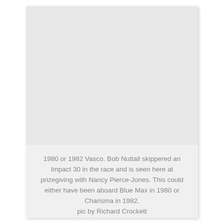[Figure (photo): A light gray rectangular area representing a photograph of a prizegiving event at the 1980 or 1982 Vasco race, with Bob Nuttall and Nancy Pierce-Jones. The photo content is not visible in this scan.]
1980 or 1982 Vasco. Bob Nuttall skippered an Impact 30 in the race and is seen here at prizegiving with Nancy Pierce-Jones. This could either have been aboard Blue Max in 1980 or Charisma in 1982. pic by Richard Crockett